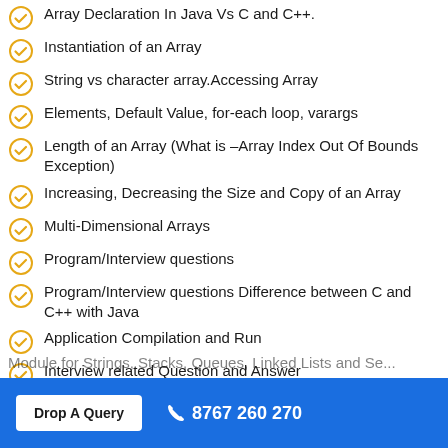Array Declaration In Java Vs C and C++.
Instantiation of an Array
String vs character array.Accessing Array
Elements, Default Value, for-each loop, varargs
Length of an Array (What is –Array Index Out Of Bounds Exception)
Increasing, Decreasing the Size and Copy of an Array
Multi-Dimensional Arrays
Program/Interview questions
Program/Interview questions Difference between C and C++ with Java
Application Compilation and Run
Interview related Question and Answer
Drop A Query    📞 8767 260 270